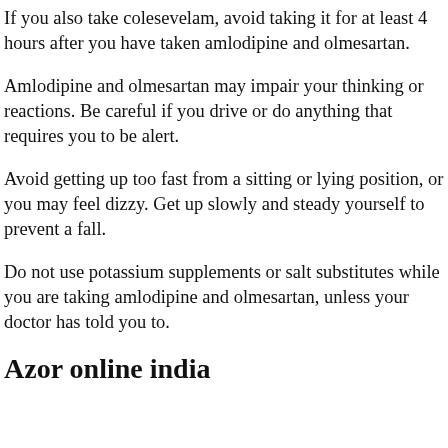If you also take colesevelam, avoid taking it for at least 4 hours after you have taken amlodipine and olmesartan.
Amlodipine and olmesartan may impair your thinking or reactions. Be careful if you drive or do anything that requires you to be alert.
Avoid getting up too fast from a sitting or lying position, or you may feel dizzy. Get up slowly and steady yourself to prevent a fall.
Do not use potassium supplements or salt substitutes while you are taking amlodipine and olmesartan, unless your doctor has told you to.
Azor online india